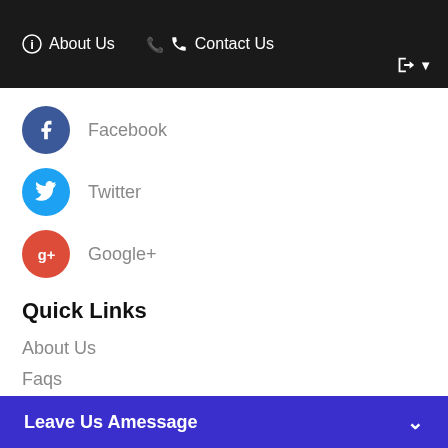About Us   Contact Us
Facebook
Twitter
Google+
Quick Links
About Us
Faqs
Packages
Contact Us
Leave Us Amessage